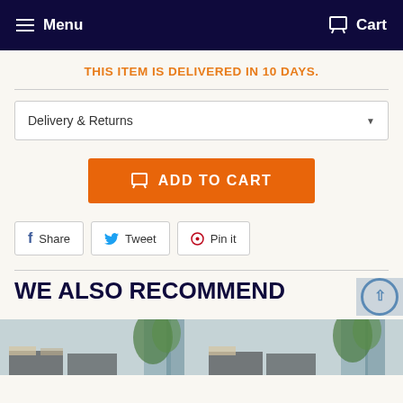Menu   Cart
THIS ITEM IS DELIVERED IN 10 DAYS.
Delivery & Returns
ADD TO CART
Share   Tweet   Pin it
WE ALSO RECOMMEND
[Figure (photo): Two product thumbnail images showing room decor with plants and pillows]